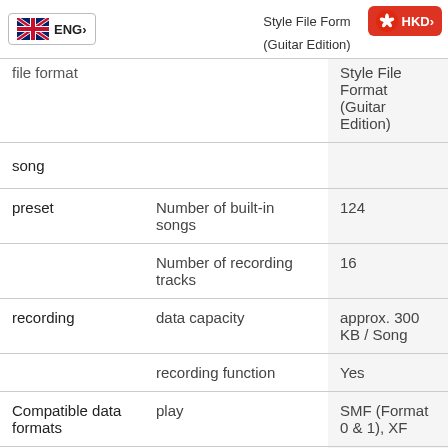ENG | Style File Format (Guitar Edition) | HKD
| Category | Feature | Value |
| --- | --- | --- |
|  |  | Style File Format (Guitar Edition) |
| song |  |  |
| preset | Number of built-in songs | 124 |
|  | Number of recording tracks | 16 |
| recording | data capacity | approx. 300 KB / Song |
|  | recording function | Yes |
| Compatible data formats | play | SMF (Format 0 & 1), XF |
|  | recording | SMF (Format 0) |